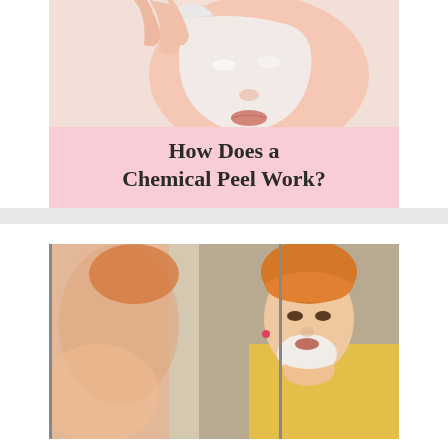[Figure (photo): Close-up photo of a woman peeling a white face mask off her skin, with a pink banner overlay at the bottom]
How Does a Chemical Peel Work?
[Figure (photo): Woman with an orange towel on her head applying white cream/peel product to her face in front of a mirror]